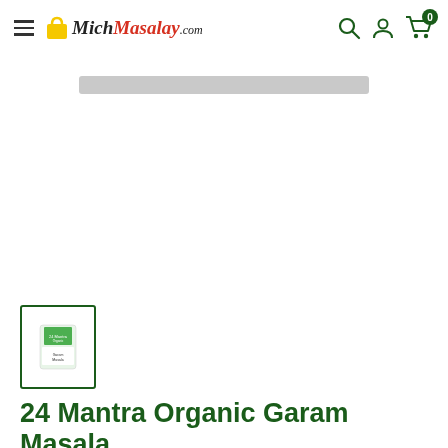MichMasalay.com — navigation header with hamburger menu, logo, search, account, and cart icons
[Figure (photo): Gray horizontal stripe placeholder for product image]
[Figure (photo): Small thumbnail of 24 Mantra Organic Garam Masala product package with green border]
24 Mantra Organic Garam Masala